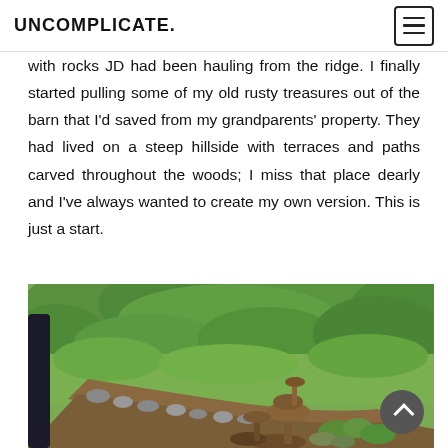UNCOMPLICATE.
with rocks JD had been hauling from the ridge. I finally started pulling some of my old rusty treasures out of the barn that I'd saved from my grandparents' property. They had lived on a steep hillside with terraces and paths carved throughout the woods; I miss that place dearly and I've always wanted to create my own version. This is just a start.
[Figure (photo): Outdoor garden scene showing a hillside with green vegetation, a dirt path, rocks arranged along a border, and rustic metal garden ornaments/birdbath in the foreground.]